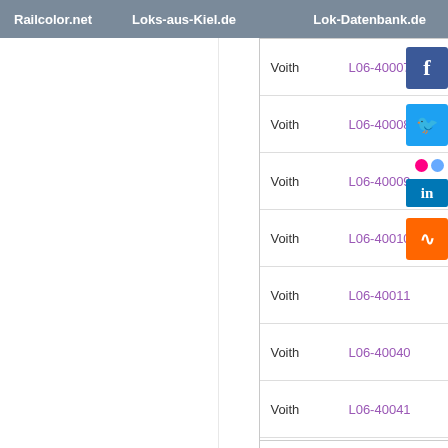Railcolor.net   Loks-aus-Kiel.de   Lok-Datenbank.de
| Manufacturer | ID |
| --- | --- |
| Voith | L06-40007 |
| Voith | L06-40008 |
| Voith | L06-40009 |
| Voith | L06-40010 |
| Voith | L06-40011 |
| Voith | L06-40040 |
| Voith | L06-40041 |